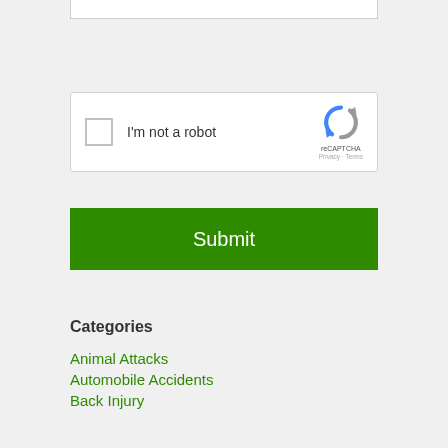[Figure (screenshot): reCAPTCHA widget with checkbox labeled I'm not a robot and reCAPTCHA logo with Privacy and Terms links]
Submit
Categories
Animal Attacks
Automobile Accidents
Back Injury